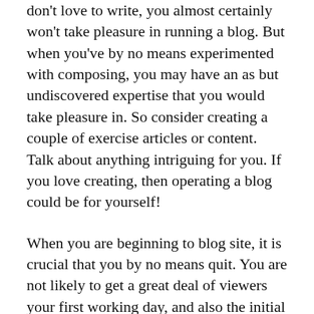don't love to write, you almost certainly won't take pleasure in running a blog. But when you've by no means experimented with composing, you may have an as but undiscovered expertise that you would take pleasure in. So consider creating a couple of exercise articles or content. Talk about anything intriguing for you. If you love creating, then operating a blog could be for yourself!
When you are beginning to blog site, it is crucial that you by no means quit. You are not likely to get a great deal of viewers your first working day, and also the initial 7 days, and that is fine. Just continue to keep writing what you are excited about, along with the readers will come to you.
Consider writing for your personal viewers. Your blog is often private, but should you wish to expand viewers of over a few individuals, attempt creating